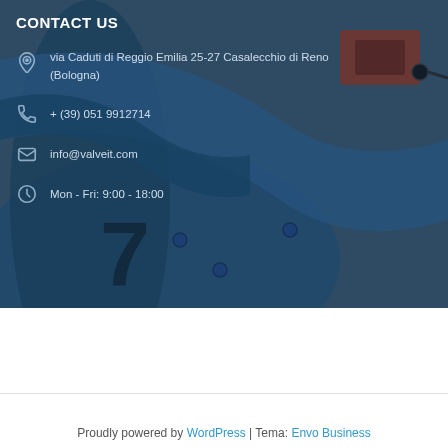[Figure (photo): Industrial machinery photo — blue metal valve/pipe assembly with orange sensor/camera equipment, used as background for contact section]
CONTACT US
via Caduti di Reggio Emilia 25-27 Casalecchio di Reno (Bologna)
+ (39) 051 9912714
info@valveit.com
Mon - Fri: 9:00 - 18:00
Proudly powered by WordPress | Tema: Envo Business